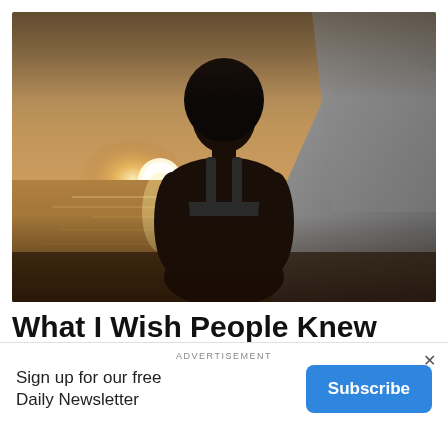[Figure (photo): Woman with short natural hair seen from behind, wearing a black sports bra, sitting on a beach looking out at the ocean at sunset, with rocks visible to the right]
What I Wish People Knew About Breast Cancer
ADVERTISEMENT
Sign up for our free Daily Newsletter
Subscribe